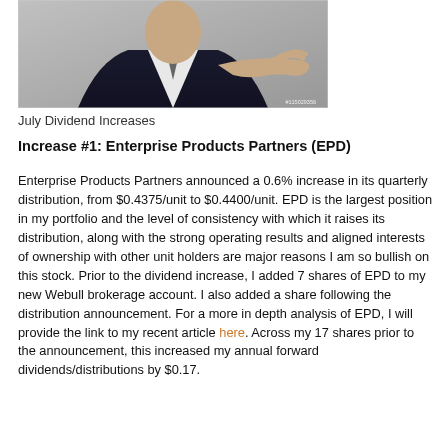[Figure (photo): Partial photo of a person in a suit extending their hand, with a stock photo watermark number #115029356 in the lower right corner.]
July Dividend Increases
Increase #1: Enterprise Products Partners (EPD)
Enterprise Products Partners announced a 0.6% increase in its quarterly distribution, from $0.4375/unit to $0.4400/unit. EPD is the largest position in my portfolio and the level of consistency with which it raises its distribution, along with the strong operating results and aligned interests of ownership with other unit holders are major reasons I am so bullish on this stock. Prior to the dividend increase, I added 7 shares of EPD to my new Webull brokerage account. I also added a share following the distribution announcement. For a more in depth analysis of EPD, I will provide the link to my recent article here. Across my 17 shares prior to the announcement, this increased my annual forward dividends/distributions by $0.17.